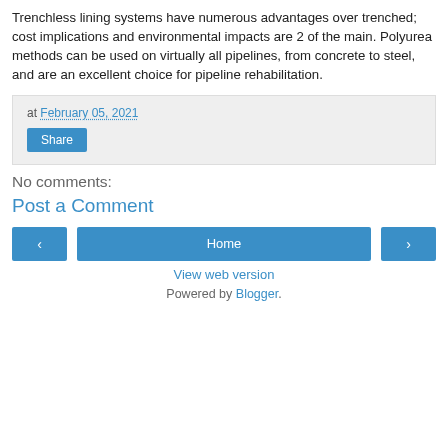Trenchless lining systems have numerous advantages over trenched; cost implications and environmental impacts are 2 of the main. Polyurea methods can be used on virtually all pipelines, from concrete to steel, and are an excellent choice for pipeline rehabilitation.
at February 05, 2021
Share
No comments:
Post a Comment
‹
Home
›
View web version
Powered by Blogger.